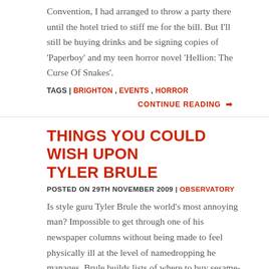Convention, I had arranged to throw a party there until the hotel tried to stiff me for the bill. But I'll still be buying drinks and be signing copies of 'Paperboy' and my teen horror novel 'Hellion: The Curse Of Snakes'.
TAGS | BRIGHTON , EVENTS , HORROR
CONTINUE READING →
THINGS YOU COULD WISH UPON TYLER BRULE
POSTED ON 29TH NOVEMBER 2009 | OBSERVATORY
Is style guru Tyler Brule the world's most annoying man? Impossible to get through one of his newspaper columns without being made to feel physically ill at the level of namedropping he manages, Brule builds lists of where to buy sesame-scented